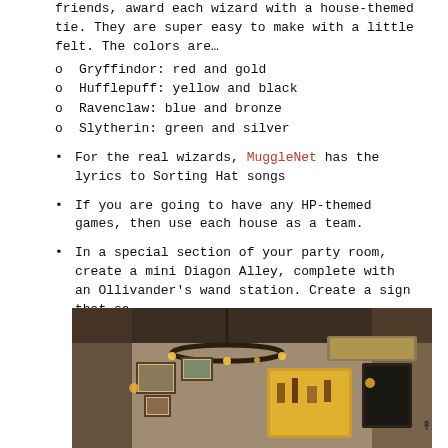friends, award each wizard with a house-themed tie. They are super easy to make with a little felt. The colors are…
o  Gryffindor: red and gold
o  Hufflepuff: yellow and black
o  Ravenclaw: blue and bronze
o  Slytherin: green and silver
For the real wizards, MuggleNet has the lyrics to Sorting Hat songs
If you are going to have any HP-themed games, then use each house as a team.
In a special section of your party room, create a mini Diagon Alley, complete with an Ollivander's wand station. Create a sign that sa
[Figure (photo): Interior of a wizarding shop resembling Diagon Alley with dark wooden beams, hanging chandelier, framed pictures on the wall, and a glowing display case in the background. Cauldrons and magical items are visible.]